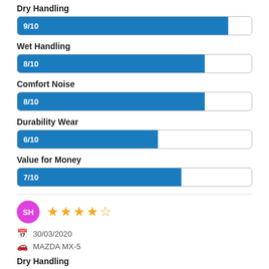Dry Handling
[Figure (bar-chart): Dry Handling]
Wet Handling
[Figure (bar-chart): Wet Handling]
Comfort Noise
[Figure (bar-chart): Comfort Noise]
Durability Wear
[Figure (bar-chart): Durability Wear]
Value for Money
[Figure (bar-chart): Value for Money]
SH ★★★★½ | 30/03/2020 | MAZDA MX-5
Dry Handling
[Figure (bar-chart): Dry Handling]